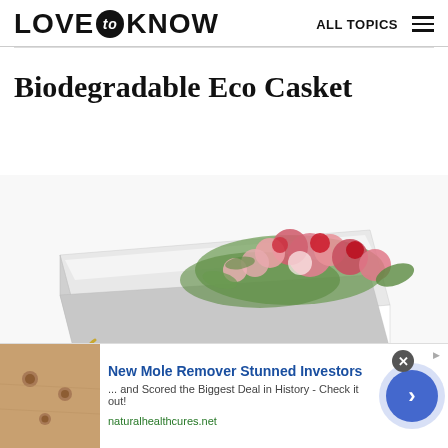LOVE to KNOW   ALL TOPICS
Biodegradable Eco Casket
[Figure (photo): A white biodegradable eco casket with pink and red flowers arranged on top, photographed from a slight angle on a white background.]
New Mole Remover Stunned Investors
... and Scored the Biggest Deal in History - Check it out!
naturalhealthcures.net